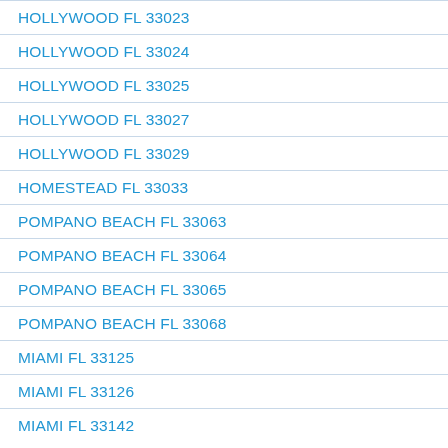HOLLYWOOD FL 33023
HOLLYWOOD FL 33024
HOLLYWOOD FL 33025
HOLLYWOOD FL 33027
HOLLYWOOD FL 33029
HOMESTEAD FL 33033
POMPANO BEACH FL 33063
POMPANO BEACH FL 33064
POMPANO BEACH FL 33065
POMPANO BEACH FL 33068
MIAMI FL 33125
MIAMI FL 33126
MIAMI FL 33142